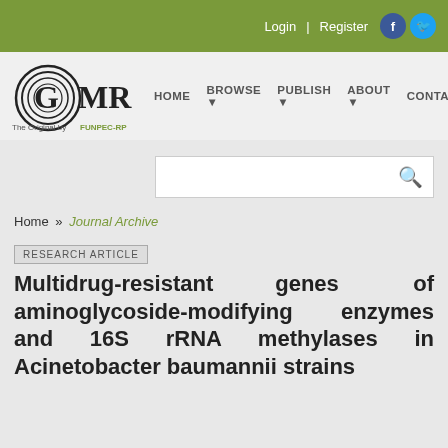Login | Register
[Figure (logo): GMR - Genetics and Molecular Research journal logo with FUNPEC-RP branding]
HOME  BROWSE ▼  PUBLISH ▼  ABOUT ▼  CONTACT
Home » Journal Archive
RESEARCH ARTICLE
Multidrug-resistant genes of aminoglycoside-modifying enzymes and 16S rRNA methylases in Acinetobacter baumannii strains
J.-T. Wen, Y. Zhou, L. Yang, Y. Xu